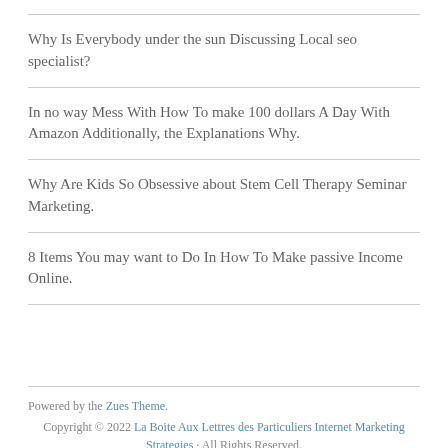Why Is Everybody under the sun Discussing Local seo specialist?
In no way Mess With How To make 100 dollars A Day With Amazon Additionally, the Explanations Why.
Why Are Kids So Obsessive about Stem Cell Therapy Seminar Marketing.
8 Items You may want to Do In How To Make passive Income Online.
Powered by the Zues Theme. Copyright © 2022 La Boite Aux Lettres des Particuliers Internet Marketing Strategies · All Rights Reserved.